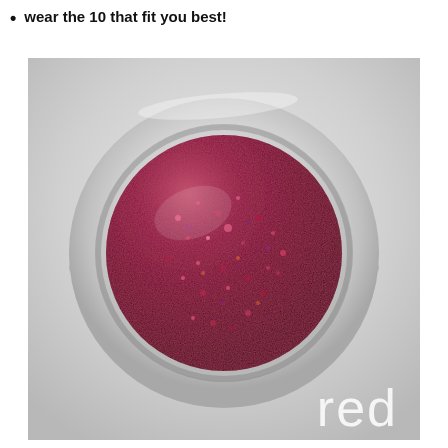wear the 10 that fit you best!
[Figure (photo): A round disc of dark red/crimson glittery nail polish or cosmetic product sitting in a white circular dish/palette, photographed from above against a light gray gradient background. The word 'red' appears in large white lowercase text in the bottom-right corner of the image.]